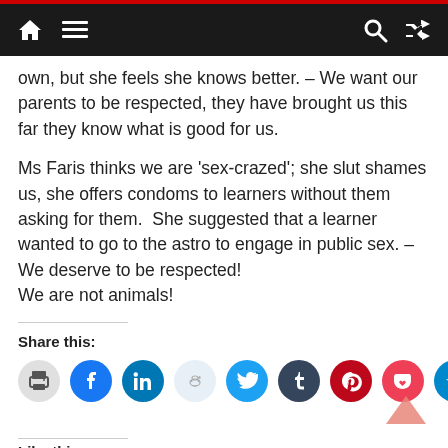Navigation bar with home, menu, search, and shuffle icons
own, but she feels she knows better. – We want our parents to be respected, they have brought us this far they know what is good for us.
Ms Faris thinks we are 'sex-crazed'; she slut shames us, she offers condoms to learners without them asking for them.  She suggested that a learner wanted to go to the astro to engage in public sex. – We deserve to be respected!
We are not animals!
Share this:
[Figure (infographic): Row of social share buttons: print, facebook, linkedin, reddit, twitter, tumblr, pinterest, pocket, telegram, whatsapp]
Like this: